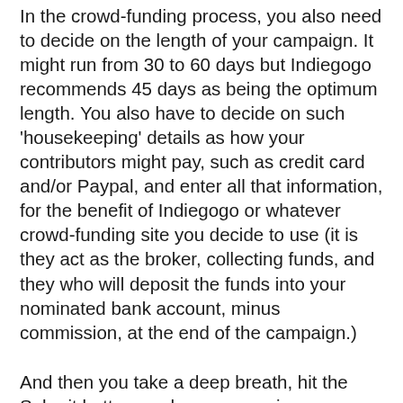In the crowd-funding process, you also need to decide on the length of your campaign. It might run from 30 to 60 days but Indiegogo recommends 45 days as being the optimum length. You also have to decide on such 'housekeeping' details as how your contributors might pay, such as credit card and/or Paypal, and enter all that information, for the benefit of Indiegogo or whatever crowd-funding site you decide to use (it is they act as the broker, collecting funds, and they who will deposit the funds into your nominated bank account, minus commission, at the end of the campaign.)
And then you take a deep breath, hit the Submit button, and your campaign goes live!
Helpful websites: